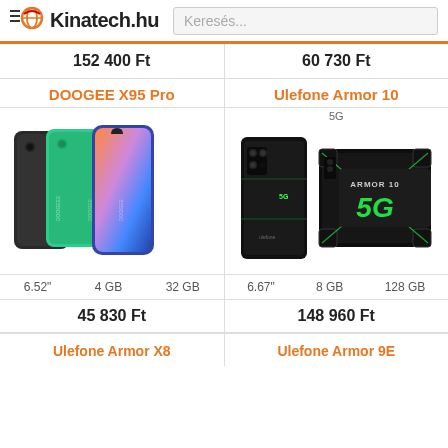Kinatech.hu | Keresés...
152 400 Ft
60 730 Ft
DOOGEE X95 Pro
[Figure (photo): DOOGEE X95 Pro smartphones in black, green, and blue colors shown from back and front]
6.52"  4 GB  32 GB
45 830 Ft
Ulefone Armor 10
5G
[Figure (photo): Ulefone Armor 10 5G rugged smartphone shown from back with green accents and ARMOR 10 5G branding]
6.67"  8 GB  128 GB
148 960 Ft
Ulefone Armor X8
Ulefone Armor 9E